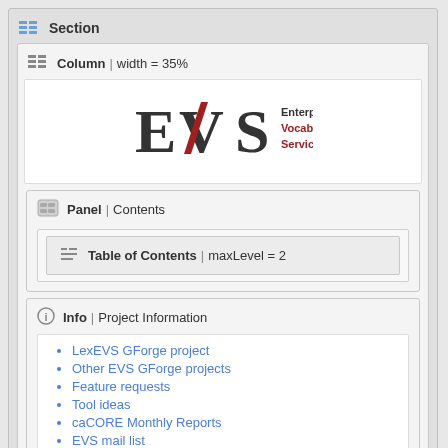Section
Column | width = 35%
[Figure (logo): EVS Enterprise Vocabulary Services logo]
Panel | Contents
Table of Contents | maxLevel = 2
Info | Project Information
LexEVS GForge project
Other EVS GForge projects
Feature requests
Tool ideas
caCORE Monthly Reports
EVS mail list
Info | Product Information